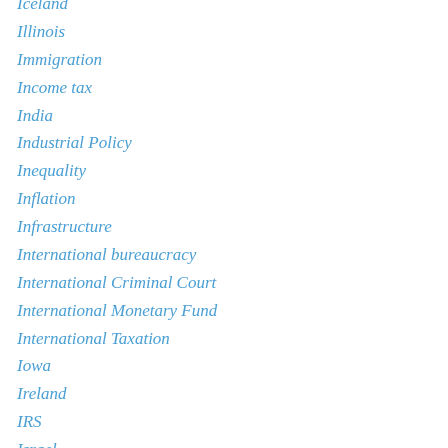Iceland
Illinois
Immigration
Income tax
India
Industrial Policy
Inequality
Inflation
Infrastructure
International bureaucracy
International Criminal Court
International Monetary Fund
International Taxation
Iowa
Ireland
IRS
Israel
Italy
Janet Yellen
Japan